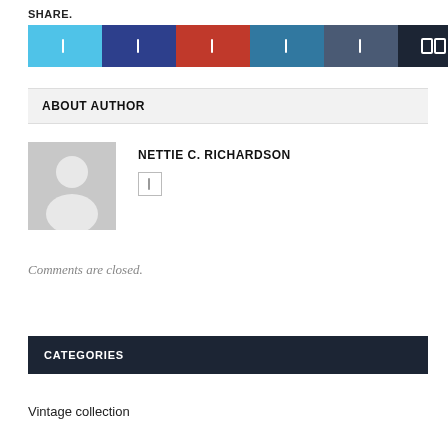SHARE.
[Figure (other): Row of six social share buttons: Twitter (light blue), Facebook (dark blue), Pinterest (red), LinkedIn (medium blue), Digg (dark grey-blue), Email (near black), each with an icon]
ABOUT AUTHOR
[Figure (photo): Default grey avatar silhouette placeholder image]
NETTIE C. RICHARDSON
[Figure (other): Small social icon button for author]
Comments are closed.
CATEGORIES
Vintage collection